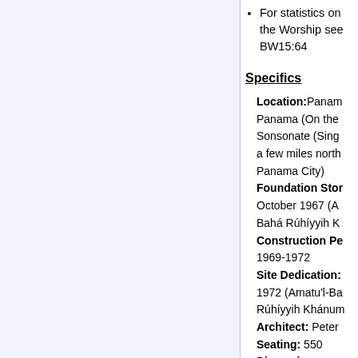For statistics on the Worship see BW15:64
Specifics
Location: Panama, Panama (On the Sonsonate (Singo a few miles north Panama City)
Foundation Sto: October 1967 (A Bahá Rúhíyyih K
Construction Pe: 1969-1972
Site Dedication: 1972 (Amatu'l-Ba Rúhíyyih Khánum
Architect: Peter
Seating: 550
Dimensions:
Cost: